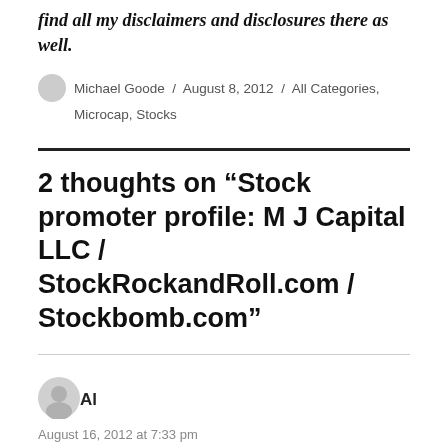find all my disclaimers and disclosures there as well.
Michael Goode / August 8, 2012 / All Categories, Microcap, Stocks
2 thoughts on “Stock promoter profile: M J Capital LLC / StockRockandRoll.com / Stockbomb.com”
Al
August 16, 2012 at 7:33 pm